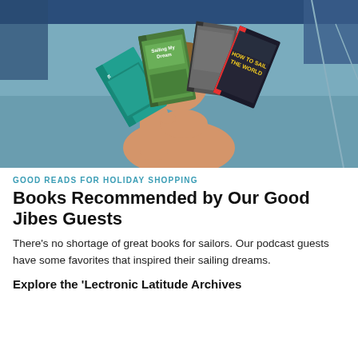[Figure (photo): A smiling man holding up multiple sailing and marine books including 'Sailing My Dream', 'Marine Medicine', 'How to Sail the World', and other sailing-related books. He is standing on or near a boat with a blue canopy overhead.]
GOOD READS FOR HOLIDAY SHOPPING
Books Recommended by Our Good Jibes Guests
There's no shortage of great books for sailors. Our podcast guests have some favorites that inspired their sailing dreams.
Explore the 'Lectronic Latitude Archives